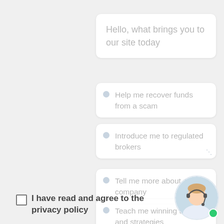Hello, what brings you to our site today
Help me recover funds from a scam
Introduce me to regulated brokers
Tell me more about a company
Teach me winning tactics and strategies
I have read and agree to the privacy policy
Submit
[Figure (photo): Customer service representative avatar with headset and green online indicator dot]